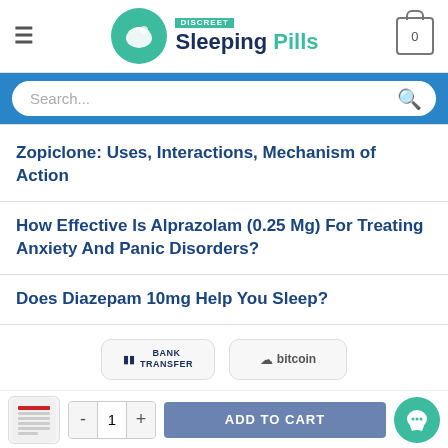[Figure (logo): Discreet Sleeping Pills logo with green circular icon and shopping cart]
[Figure (screenshot): Search bar with blue background]
Zopiclone: Uses, Interactions, Mechanism of Action
How Effective Is Alprazolam (0.25 Mg) For Treating Anxiety And Panic Disorders?
Does Diazepam 10mg Help You Sleep?
[Figure (logo): Bank Transfer and Bitcoin payment method badges]
PRIVACY POLICY   DELIVERY PROCEDURE   TERMS & CONDITIONS   REFUND & RETURN POLICY
[Figure (screenshot): Add to cart bar with product thumbnail, quantity control, and teal chat button]